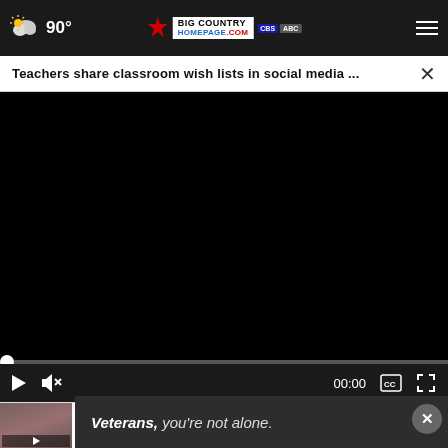90° | Big Country Homepage | CBS ABC
Teachers share classroom wish lists in social media ...  ×
[Figure (screenshot): Black video player screen with progress bar and controls showing 00:00 timestamp, play button, mute button, captions and fullscreen icons]
Niblo Murder Trial daily recap: Who's testifying?
Veterans, you're not alone.